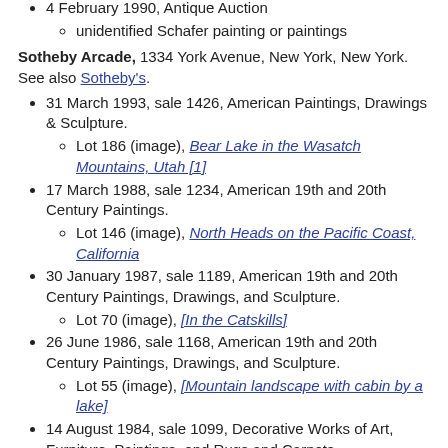4 February 1990, Antique Auction
  - unidentified Schafer painting or paintings
Sotheby Arcade, 1334 York Avenue, New York, New York. See also Sotheby's.
31 March 1993, sale 1426, American Paintings, Drawings & Sculpture.
  - Lot 186 (image), Bear Lake in the Wasatch Mountains, Utah [1]
17 March 1988, sale 1234, American 19th and 20th Century Paintings.
  - Lot 146 (image), North Heads on the Pacific Coast, California
30 January 1987, sale 1189, American 19th and 20th Century Paintings, Drawings, and Sculpture.
  - Lot 70 (image), [In the Catskills]
26 June 1986, sale 1168, American 19th and 20th Century Paintings, Drawings, and Sculpture.
  - Lot 55 (image), [Mountain landscape with cabin by a lake]
14 August 1984, sale 1099, Decorative Works of Art, Furniture, Paintings, and Rugs and Carpets.
  - Lot 240, North Heads on the Pacific Coast,